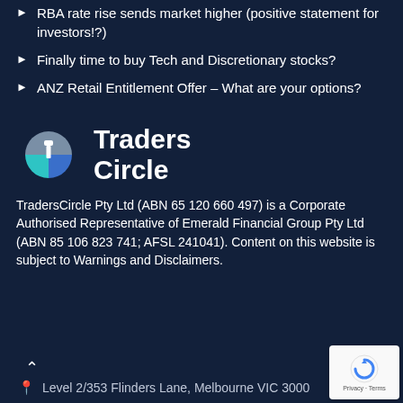RBA rate rise sends market higher (positive statement for investors!?)
Finally time to buy Tech and Discretionary stocks?
ANZ Retail Entitlement Offer – What are your options?
[Figure (logo): Traders Circle logo with circular icon in teal/blue/grey and bold white text reading 'Traders Circle']
TradersCircle Pty Ltd (ABN 65 120 660 497) is a Corporate Authorised Representative of Emerald Financial Group Pty Ltd (ABN 85 106 823 741; AFSL 241041). Content on this website is subject to Warnings and Disclaimers.
Level 2/353 Flinders Lane, Melbourne VIC 3000